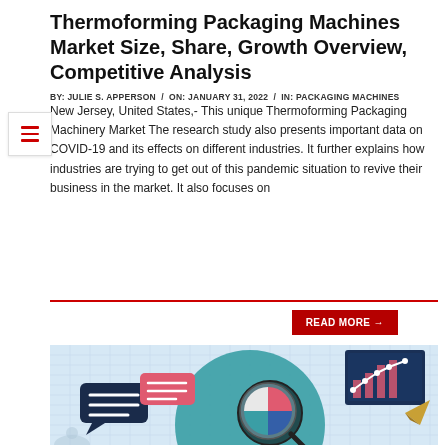Thermoforming Packaging Machines Market Size, Share, Growth Overview, Competitive Analysis
BY: JULIE S. APPERSON / ON: JANUARY 31, 2022 / IN: PACKAGING MACHINES
New Jersey, United States,- This unique Thermoforming Packaging Machinery Market The research study also presents important data on COVID-19 and its effects on different industries. It further explains how industries are trying to get out of this pandemic situation to revive their business in the market. It also focuses on
READ MORE →
[Figure (illustration): Infographic illustration showing market research elements: a large teal circle, chat bubbles, a magnifying glass, pie chart, bar/line chart panel, paper airplane, on a light blue grid background.]